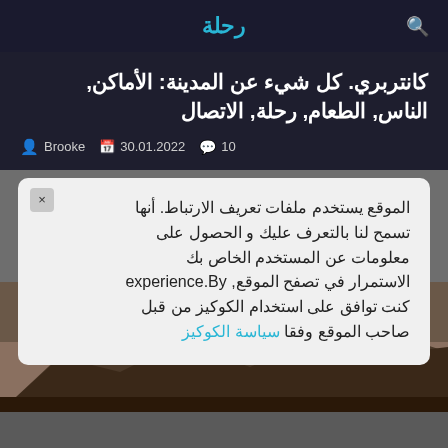رحلة
كانتربري. كل شيء عن المدينة: الأماكن, الناس, الطعام, رحلة, الاتصال
Brooke  30.01.2022  10
الموقع يستخدم ملفات تعريف الارتباط. أنها تسمح لنا بالتعرف عليك و الحصول على معلومات عن المستخدم الخاص بك الاستمرار في تصفح الموقع, experience.By كنت توافق على استخدام الكوكيز من قبل صاحب الموقع وفقا سياسة الكوكيز